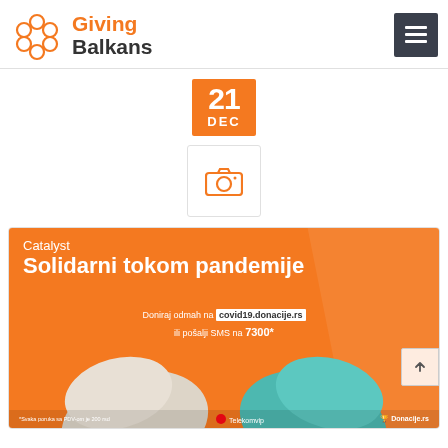Giving Balkans
[Figure (other): Orange date badge showing 21 DEC]
[Figure (other): Camera icon placeholder box]
[Figure (other): Catalyst Solidarni tokom pandemije campaign banner — orange background with two fists bumping (one white glove, one blue glove), text: Catalyst, Solidarni tokom pandemije, Doniraj odmah na covid19.donacije.rs ili pošalji SMS na 7300*, fine print and logos at bottom]